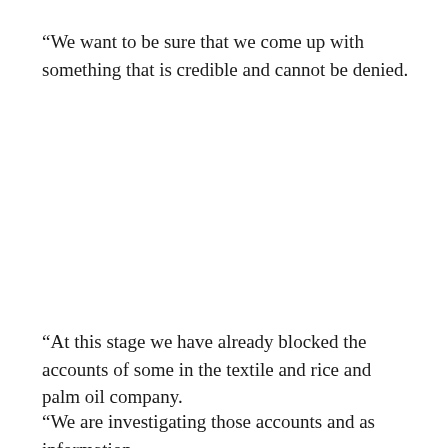“We want to be sure that we come up with something that is credible and cannot be denied.
“At this stage we have already blocked the accounts of some in the textile and rice and palm oil company.
“We are investigating those accounts and as information